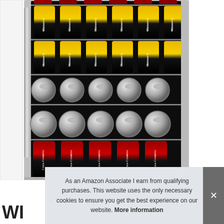[Figure (photo): A beverage refrigerator (mini fridge) with glass door open showing multiple shelves filled with Watson's brand cans (gold and black design) on the top two shelves, silver cans viewed from the top on the middle shelves, and Coca-Cola Zero cans (black and red) on the bottom shelf. The fridge has a stainless steel frame and wire shelves.]
As an Amazon Associate I earn from qualifying purchases. This website uses the only necessary cookies to ensure you get the best experience on our website. More information
WI